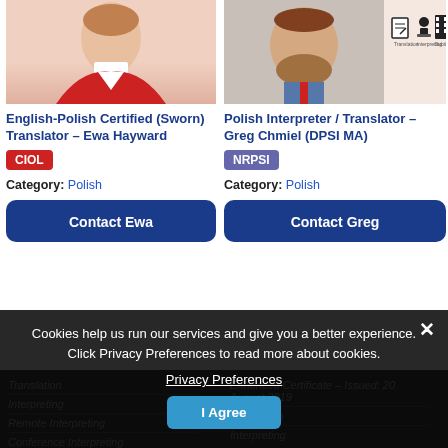[Figure (photo): Photo of Ewa Hayward - woman in red blazer, white top]
English-Polish Certified (Sworn) Translator – Ewa Hayward
CIOL
Category: Polish
Contact Ewa
[Figure (photo): Photo of Greg Chmiel - man in shirt with icons for Translation, Interpreting, Subtitling]
Polish Interpreter / Translator – Greg Chmiel (DPSI MA)
NRPSI
Category: Polish
Contact Greg
Cookies help us run our services and give you a better experience. Click Privacy Preferences to read more about cookies.
Privacy Preferences
I Agree
Translation
Enhanced Certificate – Issued: 20 August 2019
Interpreting
Translation
Remote Interpreting
Conference Interpreting
Interpreting